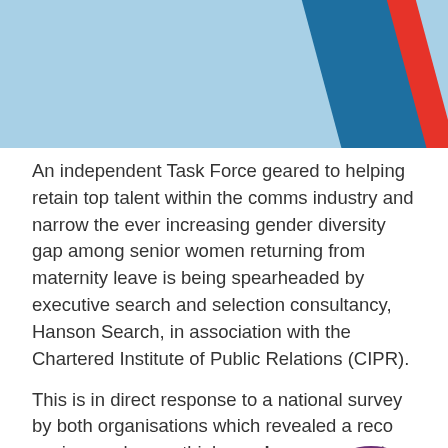[Figure (illustration): Header banner with light blue background and diagonal dark blue and red stripes in the top-right corner]
An independent Task Force geared to helping retain top talent within the comms industry and narrow the ever increasing gender diversity gap among senior women returning from maternity leave is being spearheaded by executive search and selection consultancy, Hanson Search, in association with the Chartered Institute of Public Relations (CIPR).
This is in direct response to a national survey by both organisations which revealed a record senior employees think employers are out of working mums and plan to quit the industry in the next